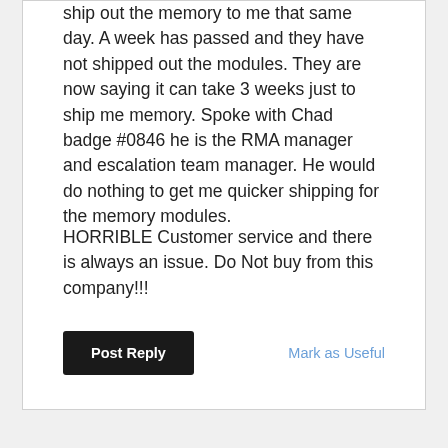ship out the memory to me that same day. A week has passed and they have not shipped out the modules. They are now saying it can take 3 weeks just to ship me memory. Spoke with Chad badge #0846 he is the RMA manager and escalation team manager. He would do nothing to get me quicker shipping for the memory modules.
HORRIBLE Customer service and there is always an issue. Do Not buy from this company!!!